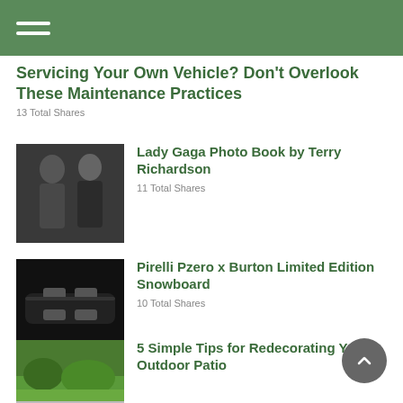Servicing Your Own Vehicle? Don't Overlook These Maintenance Practices
13 Total Shares
[Figure (photo): Black and white photo of two people posing together]
Lady Gaga Photo Book by Terry Richardson
11 Total Shares
[Figure (photo): Dark photo of a snowboard with bindings]
Pirelli Pzero x Burton Limited Edition Snowboard
10 Total Shares
[Figure (photo): Green outdoor landscape photo]
5 Simple Tips for Redecorating Your Outdoor Patio